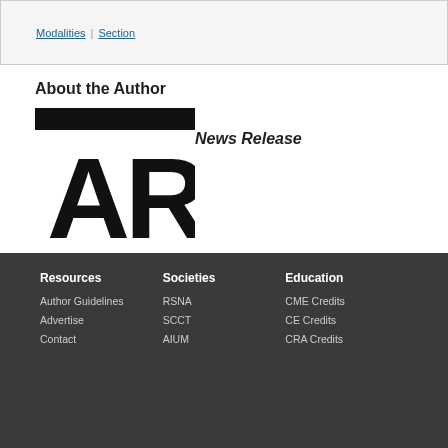Modalities | Section
About the Author
[Figure (logo): AR logo with black horizontal bars on top and bottom and bold 'AR' letters in the center]
News Release
Resources | Author Guidelines | Advertise | Contact | Societies | RSNA | SCCT | AIUM | Education | CME Credits | CE Credits | CRA Credits